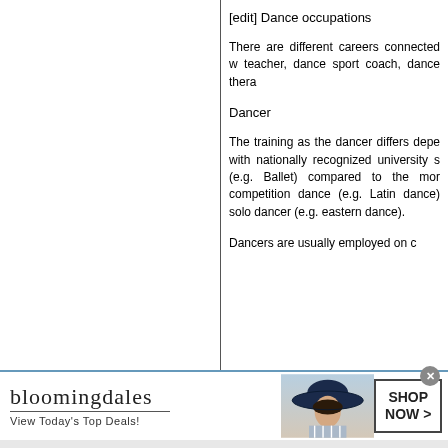[edit] Dance occupations
There are different careers connected w teacher, dance sport coach, dance thera
Dancer
The training as the dancer differs depe with nationally recognized university s (e.g. Ballet) compared to the mor competition dance (e.g. Latin dance) solo dancer (e.g. eastern dance).
Dancers are usually employed on c
[Figure (screenshot): Bloomingdale's advertisement banner with text 'View Today's Top Deals!' and 'SHOP NOW >' button, with woman in hat image]